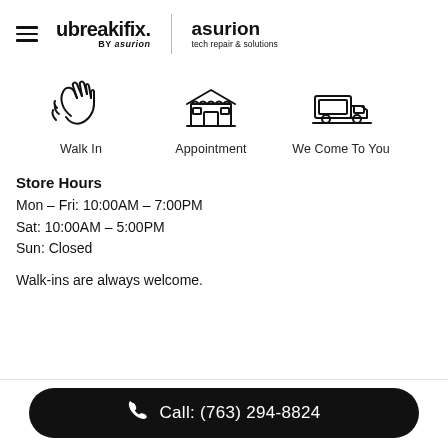[Figure (logo): ubreakifix by asurion logo and asurion tech repair & solutions logo with hamburger menu icon]
[Figure (infographic): Three service icons: Walk In (waving hand), Appointment (storefront), We Come To You (delivery truck) with labels below]
Store Hours
Mon - Fri: 10:00AM - 7:00PM
Sat: 10:00AM - 5:00PM
Sun: Closed
Walk-ins are always welcome.
Call: (763) 294-8824